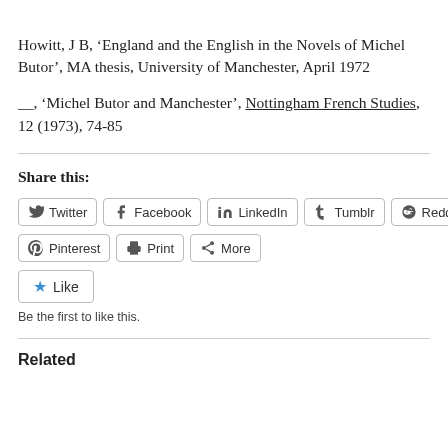Howitt, J B, ‘England and the English in the Novels of Michel Butor’, MA thesis, University of Manchester, April 1972
__, ‘Michel Butor and Manchester’, Nottingham French Studies, 12 (1973), 74-85
Share this:
Twitter
Facebook
LinkedIn
Tumblr
Reddit
Pinterest
Print
More
Like
Be the first to like this.
Related